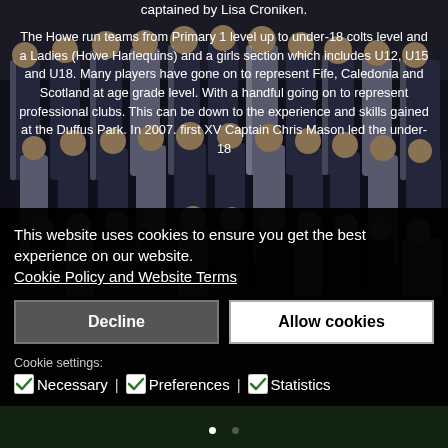[Figure (photo): Team photo of rugby players in dark navy and white striped jerseys, posed in rows on a sports field]
captained by Lisa Croniken.
The Howe run teams from Primary 1 level up to under-18 colts level and a Ladies (Howe Harlequins) and a girls section which includes U12, U15 and U18. Many players have gone on to represent Fife, Caledonia and Scotland at age grade level. With a handful going on to represent professional clubs. This can be down to the experience and skills gained at the Duffus Park. In 2007. first XV Captain Chris Mason led the under-18
This website uses cookies to ensure you get the best experience on our website.
Cookie Policy and Website Terms
Decline
Allow cookies
Cookie settings:
Necessary | Preferences | Statistics